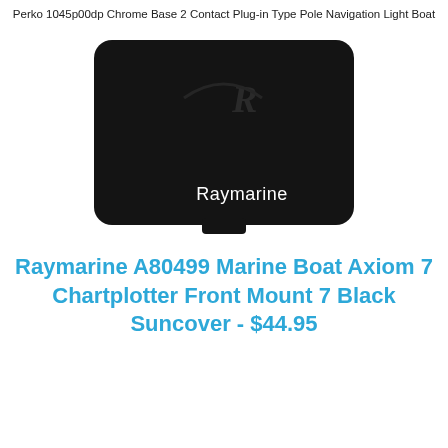Perko 1045p00dp Chrome Base 2 Contact Plug-in Type Pole Navigation Light Boat
[Figure (photo): A black rectangular Raymarine device cover/suncover with rounded corners and a small notch at the bottom center. The Raymarine logo is printed in white on the lower right area of the cover. There is a subtle embossed R symbol near the top center.]
Raymarine A80499 Marine Boat Axiom 7 Chartplotter Front Mount 7 Black Suncover - $44.95